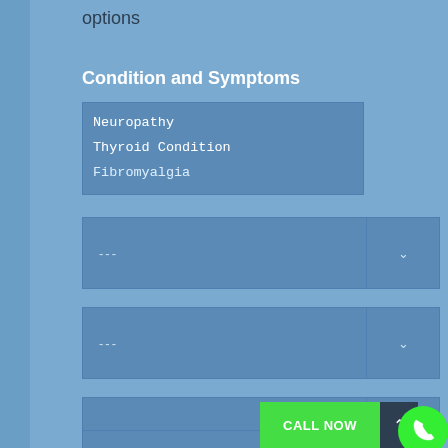options
Condition and Symptoms
Neuropathy
Thyroid Condition
Fibromyalgia
---
---
---
Name *
CALL NOW